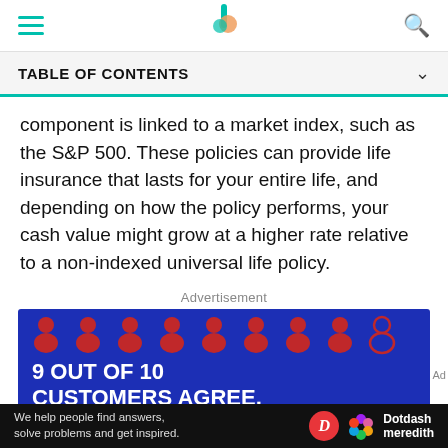Navigation bar with hamburger menu, Investopedia logo, and search icon
TABLE OF CONTENTS
component is linked to a market index, such as the S&P 500. These policies can provide life insurance that lasts for your entire life, and depending on how the policy performs, your cash value might grow at a higher rate relative to a non-indexed universal life policy.
Advertisement
[Figure (infographic): Blue advertisement banner with 9 red person icons and text '9 OUT OF 10 CUSTOMERS AGREE, YOU'RE GONNA LOVE INSURANCE']
We help people find answers, solve problems and get inspired. | Dotdash meredith